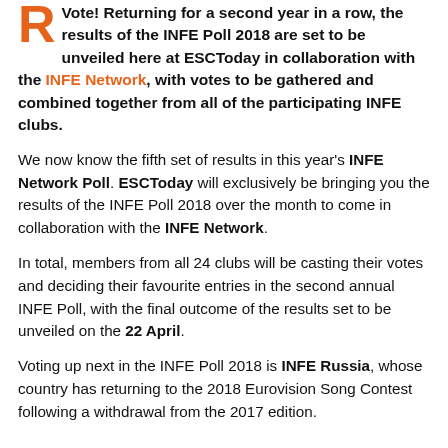Vote! Returning for a second year in a row, the results of the INFE Poll 2018 are set to be unveiled here at ESCToday in collaboration with the INFE Network, with votes to be gathered and combined together from all of the participating INFE clubs.
We now know the fifth set of results in this year's INFE Network Poll. ESCToday will exclusively be bringing you the results of the INFE Poll 2018 over the month to come in collaboration with the INFE Network.
In total, members from all 24 clubs will be casting their votes and deciding their favourite entries in the second annual INFE Poll, with the final outcome of the results set to be unveiled on the 22 April.
Voting up next in the INFE Poll 2018 is INFE Russia, whose country has returning to the 2018 Eurovision Song Contest following a withdrawal from the 2017 edition.